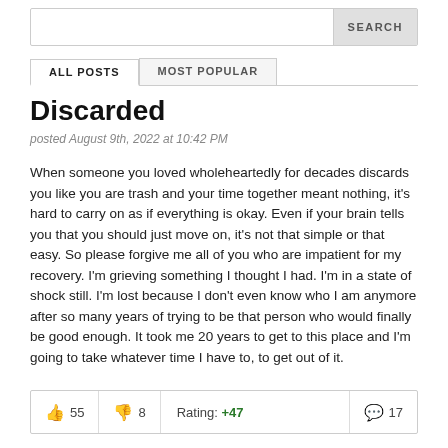[Figure (screenshot): Search bar with SEARCH button on the right]
ALL POSTS | MOST POPULAR
Discarded
posted August 9th, 2022 at 10:42 PM
When someone you loved wholeheartedly for decades discards you like you are trash and your time together meant nothing, it's hard to carry on as if everything is okay. Even if your brain tells you that you should just move on, it's not that simple or that easy. So please forgive me all of you who are impatient for my recovery. I'm grieving something I thought I had. I'm in a state of shock still. I'm lost because I don't even know who I am anymore after so many years of trying to be that person who would finally be good enough. It took me 20 years to get to this place and I'm going to take whatever time I have to, to get out of it.
👍 55  👎 8  Rating: +47  💬 17